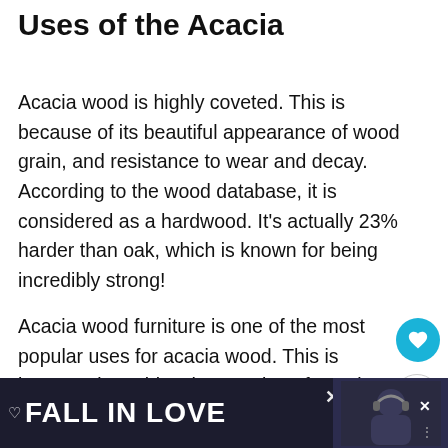Uses of the Acacia
Acacia wood is highly coveted. This is because of its beautiful appearance of wood grain, and resistance to wear and decay. According to the wood database, it is considered as a hardwood. It’s actually 23% harder than oak, which is known for being incredibly strong!
Acacia wood furniture is one of the most popular uses for acacia wood. This is because it enables the creation of wood fu... re...
[Figure (other): Advertisement banner reading FALL IN LOVE with a man with headphones and overlaid icons, displayed at the bottom of the page.]